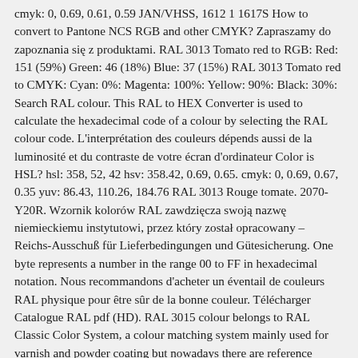cmyk: 0, 0.69, 0.61, 0.59 JAN/VHSS, 1612 1 1617S How to convert to Pantone NCS RGB and other CMYK? Zapraszamy do zapoznania się z produktami. RAL 3013 Tomato red to RGB: Red: 151 (59%) Green: 46 (18%) Blue: 37 (15%) RAL 3013 Tomato red to CMYK: Cyan: 0%: Magenta: 100%: Yellow: 90%: Black: 30%: Search RAL colour. This RAL to HEX Converter is used to calculate the hexadecimal code of a colour by selecting the RAL colour code. L'interprétation des couleurs dépends aussi de la luminosité et du contraste de votre écran d'ordinateur Color is HSL? hsl: 358, 52, 42 hsv: 358.42, 0.69, 0.65. cmyk: 0, 0.69, 0.67, 0.35 yuv: 86.43, 110.26, 184.76 RAL 3013 Rouge tomate. 2070-Y20R. Wzornik kolorów RAL zawdzięcza swoją nazwę niemieckiemu instytutowi, przez który został opracowany – Reichs-Ausschuß für Lieferbedingungen und Gütesicherung. One byte represents a number in the range 00 to FF in hexadecimal notation. Nous recommandons d'acheter un éventail de couleurs RAL physique pour être sûr de la bonne couleur. Télécharger Catalogue RAL pdf (HD). RAL 3015 colour belongs to RAL Classic Color System, a colour matching system mainly used for varnish and powder coating but nowadays there are reference panels for plastics as well. Lab, HLC, CYMK, RGB values for colours for RAL 3013 from the RAL Classic colour range. 2070-Y20R. RAL 4001 Colour. Aby uzyskać precyzyjną wizualizację koloru ZAWSZE korzystaj z fizycznego próbnika RAL ... Free UK